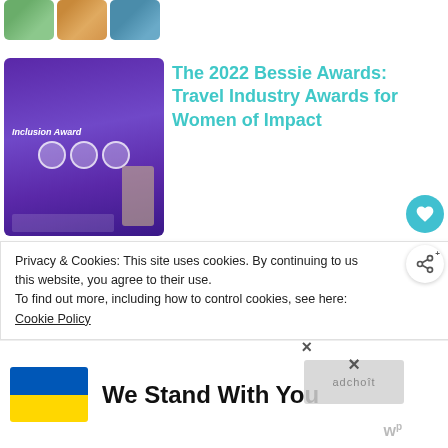[Figure (photo): Three small thumbnail images in a row at the top: mountain landscape, woman in orange/yellow, blue water scene]
[Figure (photo): Purple-background award ceremony photo with 'Inclusion Award' text, three circular portrait frames, and a person at a podium]
The 2022 Bessie Awards: Travel Industry Awards for Women of Impact
[Figure (photo): Collage of 5 photos showing women and travel scenes: colorful headscarf, mountain hiking trail, indoor/art scene, crowd, green landscape]
Support These 21 Women-Focused Non-Profits Around The World
Privacy & Cookies: This site uses cookies. By continuing to use this website, you agree to their use.
To find out more, including how to control cookies, see here:
Cookie Policy
We Stand With You